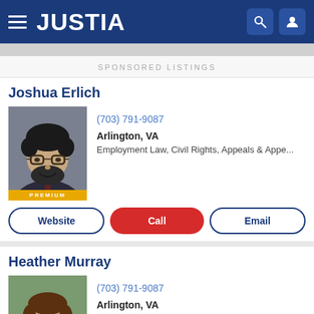JUSTIA
SPONSORED LISTINGS
Joshua Erlich
[Figure (photo): Headshot of Joshua Erlich, a man with curly dark hair and beard wearing glasses and a suit, with PREMIUM badge overlay]
(703) 791-9087
Arlington, VA
Employment Law, Civil Rights, Appeals & Appe...
Website  Call  Email
Heather Murray
[Figure (photo): Headshot of Heather Murray, a woman with brown hair smiling, wearing black]
(703) 791-9087
Arlington, VA